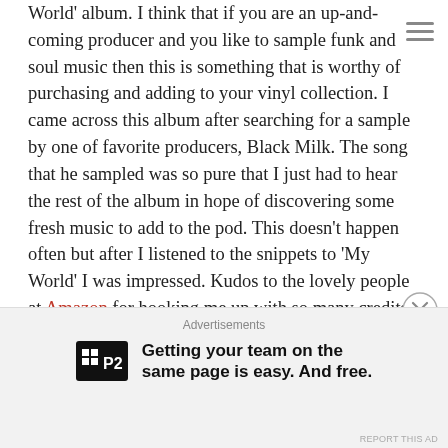World' album. I think that if you are an up-and-coming producer and you like to sample funk and soul music then this is something that is worthy of purchasing and adding to your vinyl collection. I came across this album after searching for a sample by one of favorite producers, Black Milk. The song that he sampled was so pure that I just had to hear the rest of the album in hope of discovering some fresh music to add to the pod. This doesn't happen often but after I listened to the snippets to 'My World' I was impressed. Kudos to the lovely people at Amazon for hooking me up with so many credits that I was able to get this joint for the price of Free.99. Until recently I haven't heard anything about Lee Field & The Expressions but it surprised me that most of their music
[Figure (other): Hamburger menu icon (three horizontal lines) in top right corner]
[Figure (other): Close/X circle button on right side near bottom of main content]
Advertisements
[Figure (logo): P2 logo — black square with white grid icon and P2 text]
Getting your team on the same page is easy. And free.